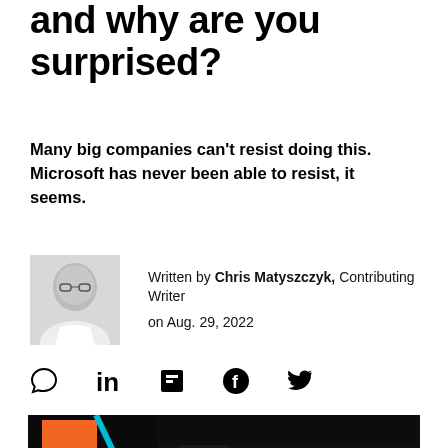and why are you surprised?
Many big companies can't resist doing this. Microsoft has never been able to resist, it seems.
Written by Chris Matyszczyk, Contributing Writer on Aug. 29, 2022
[Figure (photo): Headshot of a bald man with glasses wearing a white shirt]
[Figure (photo): Microsoft logo illuminated in orange and green against a dark background with a cyan light strip]